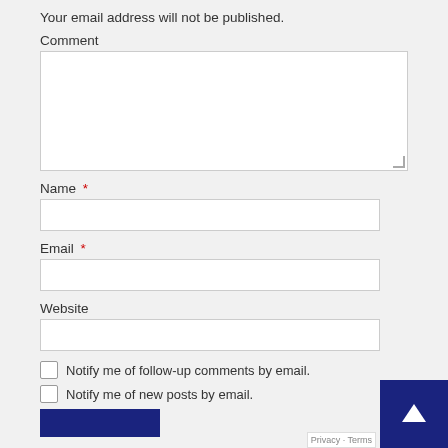Your email address will not be published.
Comment
Name *
Email *
Website
Notify me of follow-up comments by email.
Notify me of new posts by email.
[Figure (other): Back to top button with upward arrow, dark navy blue background]